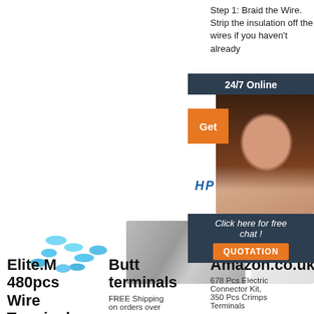Step 1: Braid the Wire. Strip the insulation off the wires if you haven't already
[Figure (infographic): Chat widget overlay with 24/7 Online support header, orange Get button, woman with headset, HP logo, 'Click here for free chat!' text, and orange QUOTATION button]
[Figure (photo): Blue wire butt connectors/terminals scattered on white background]
[Figure (photo): Metal pin terminals/connectors scattered on white background]
[Figure (photo): Amazon.co.uk product partial image]
Elite.M 480pcs Wire Terminals
Butt terminals
FREE Shipping on orders over
Amazon.co.uk
678 Pcs Electric Connector Kit, 350 Pcs Crimps Terminals